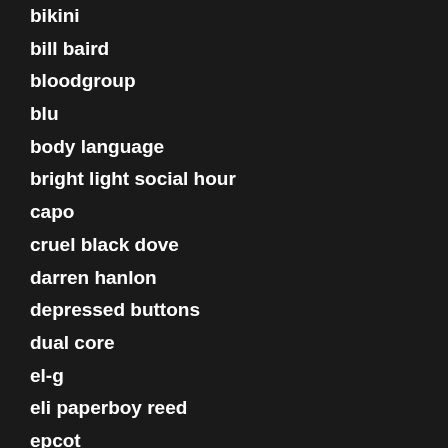bikini
bill baird
bloodgroup
blu
body language
bright light social hour
capo
cruel black dove
darren hanlon
depressed buttons
dual core
el-g
eli paperboy reed
epcot
french horn rebellion
geographer
the ghost of a saber tooth tiger
the glass